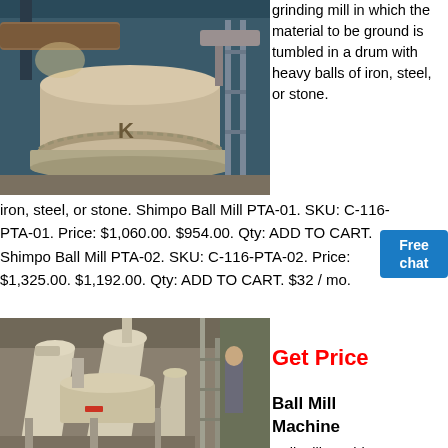[Figure (photo): Industrial ball mill machine in a factory setting, showing a large cylindrical drum on a circular base with pipes and metal framework]
grinding mill in which the material to be ground is tumbled in a drum with heavy balls of iron, steel, or stone. Shimpo Ball Mill PTA-01. SKU: C-116-PTA-01. Price: $1,060.00. $954.00. Qty: ADD TO CART. Shimpo Ball Mill PTA-02. SKU: C-116-PTA-02. Price: $1,325.00. $1,192.00. Qty: ADD TO CART. $32 / mo.
[Figure (infographic): Free chat button - blue button with white text saying Free chat]
Get Price
[Figure (photo): Ball mill machine equipment in a warehouse or industrial building, showing large conical hoppers and cylindrical components in beige/cream color]
Ball Mill Machine
Ball Mill Machine, Wholesale Various High